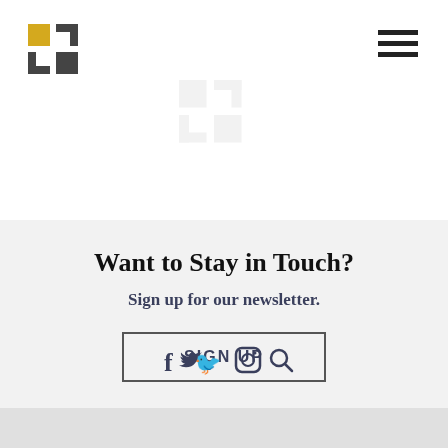[Figure (logo): Grid-style plus/cross logo in gold and dark grey, top-left corner]
[Figure (logo): Hamburger menu icon (three horizontal lines), top-right corner]
[Figure (logo): Faded/watermark version of the grid-style logo centered in upper portion]
Want to Stay in Touch?
Sign up for our newsletter.
SIGN UP
[Figure (illustration): Social media icons: Facebook (f), Twitter (bird), Instagram (camera), Search (magnifying glass)]